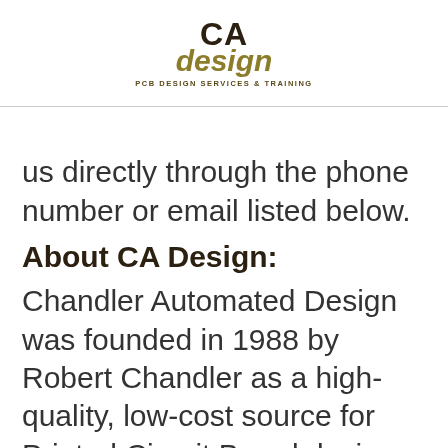[Figure (logo): CA Design logo with 'CA' in dark brown bold text and 'design' in olive/gold italic text below, with tagline 'PCB DESIGN SERVICES & TRAINING']
us directly through the phone number or email listed below.
About CA Design:
Chandler Automated Design was founded in 1988 by Robert Chandler as a high-quality, low-cost source for Printed Circuit Board design, fabrication and assembly, training, and project management. CA Design produces